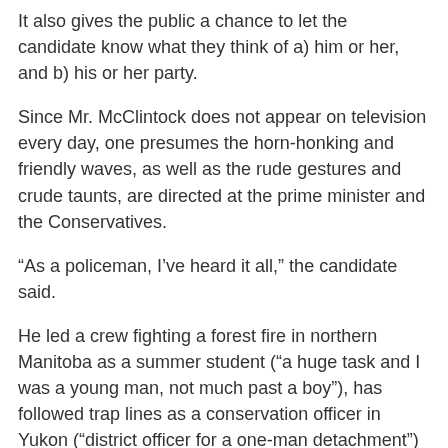It also gives the public a chance to let the candidate know what they think of a) him or her, and b) his or her party.
Since Mr. McClintock does not appear on television every day, one presumes the horn-honking and friendly waves, as well as the rude gestures and crude taunts, are directed at the prime minister and the Conservatives.
“As a policeman, I’ve heard it all,” the candidate said.
He led a crew fighting a forest fire in northern Manitoba as a summer student (“a huge task and I was a young man, not much past a boy”), has followed trap lines as a conservation officer in Yukon (“district officer for a one-man detachment”) and bought drugs as an undercover cop in Vancouver’s Downtown Eastside (“coke, speed, heroin, soft drugs, STP, speed – the works. And guns, too”).
As a boy, long before he earned a badge, he got an unforgettable lesson in the consequences of crime.
He says it gives him some insight into the lives of homeless